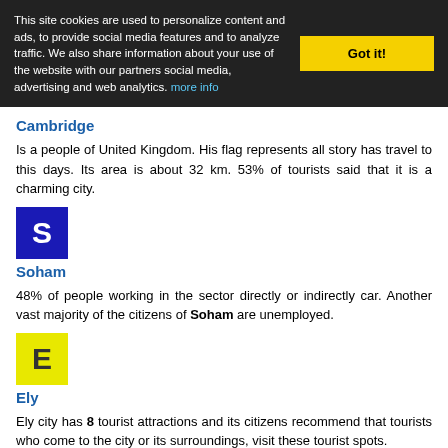This site cookies are used to personalize content and ads, to provide social media features and to analyze traffic. We also share information about your use of the website with our partners social media, advertising and web analytics. more info | Got it!
Cambridge
Is a people of United Kingdom. His flag represents all story has travel to this days. Its area is about 32 km. 53% of tourists said that it is a charming city.
[Figure (illustration): Blue square icon with white letter S]
Soham
48% of people working in the sector directly or indirectly car. Another vast majority of the citizens of Soham are unemployed.
[Figure (illustration): Yellow square icon with dark letter E]
Ely
Ely city has 8 tourist attractions and its citizens recommend that tourists who come to the city or its surroundings, visit these tourist spots.